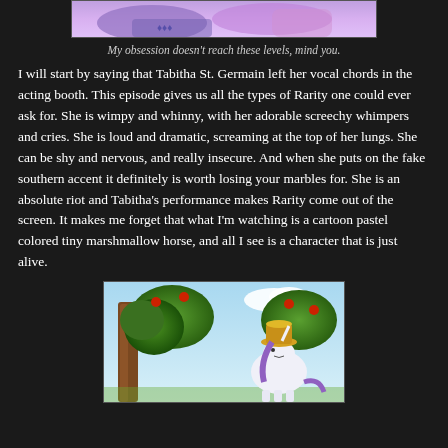[Figure (illustration): Partial screenshot of a cartoon pony illustration with purple/pink tones, partially cropped at top of page]
My obsession doesn't reach these levels, mind you.
I will start by saying that Tabitha St. Germain left her vocal chords in the acting booth. This episode gives us all the types of Rarity one could ever ask for. She is wimpy and whinny, with her adorable screechy whimpers and cries. She is loud and dramatic, screaming at the top of her lungs. She can be shy and nervous, and really insecure. And when she puts on the fake southern accent it definitely is worth losing your marbles for. She is an absolute riot and Tabitha's performance makes Rarity come out of the screen. It makes me forget that what I'm watching is a cartoon pastel colored tiny marshmallow horse, and all I see is a character that is just alive.
[Figure (illustration): Cartoon illustration of a pony (Rarity) wearing a hat near apple trees with red apples, light blue sky background]